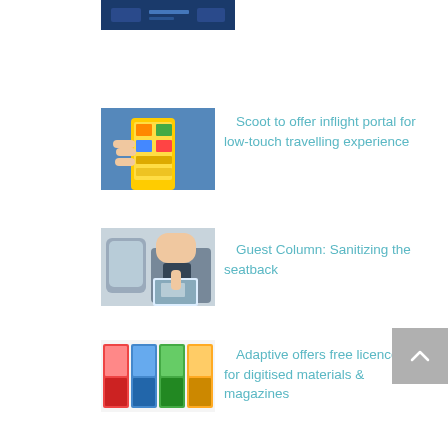[Figure (photo): Partial thumbnail of an article image, cropped at top of page, showing blue digital interface]
[Figure (photo): Hand holding a smartphone with yellow app interface on a plane]
Scoot to offer inflight portal for low-touch travelling experience
[Figure (photo): Person cleaning or using a seatback tray on an airplane]
Guest Column: Sanitizing the seatback
[Figure (photo): Colorful magazine rack or display stand with digitised materials]
Adaptive offers free licence for digitised materials & magazines